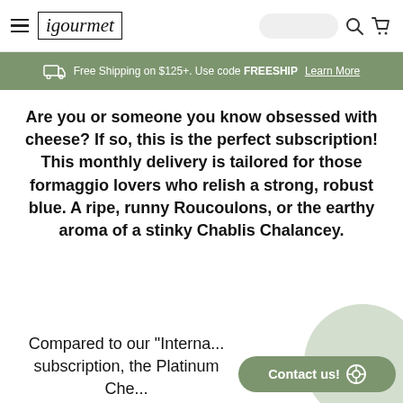igourmet
Free Shipping on $125+. Use code FREESHIP  Learn More
Are you or someone you know obsessed with cheese? If so, this is the perfect subscription! This monthly delivery is tailored for those formaggio lovers who relish a strong, robust blue. A ripe, runny Roucoulons, or the earthy aroma of a stinky Chablis Chalancey.
Compared to our "Interna... subscription, the Platinum Che... x